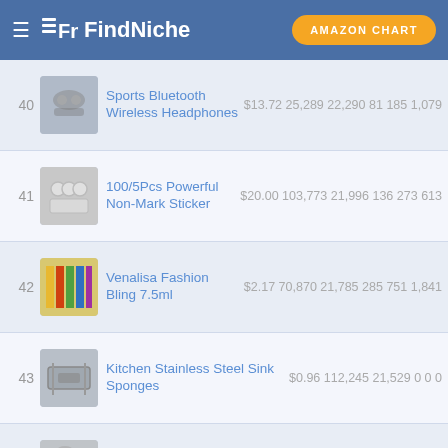FindNiche — AMAZON CHART
| Rank | Image | Product | Price | Col1 | Col2 | Col3 | Col4 | Col5 |
| --- | --- | --- | --- | --- | --- | --- | --- | --- |
| 40 |  | Sports Bluetooth Wireless Headphones | $13.72 | 25,289 | 22,290 | 81 | 185 | 1,079 |
| 41 |  | 100/5Pcs Powerful Non-Mark Sticker | $20.00 | 103,773 | 21,996 | 136 | 273 | 613 |
| 42 |  | Venalisa Fashion Bling 7.5ml | $2.17 | 70,870 | 21,785 | 285 | 751 | 1,841 |
| 43 |  | Kitchen Stainless Steel Sink Sponges | $0.96 | 112,245 | 21,529 | 0 | 0 | 0 |
| 44 |  | Portable Manual Hair | $2.27 | 17,026 | 21,496 | 297 | 655 | 1,611 |